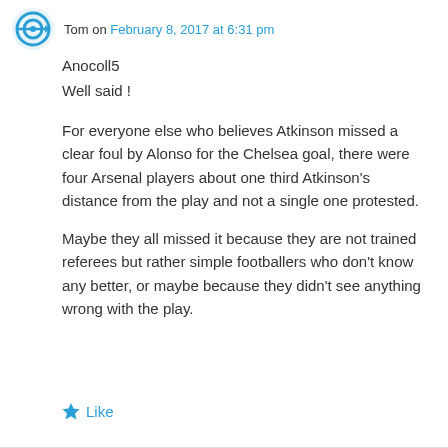Tom on February 8, 2017 at 6:31 pm
Anocoll5
Well said !
For everyone else who believes Atkinson missed a clear foul by Alonso for the Chelsea goal, there were four Arsenal players about one third Atkinson’s distance from the play and not a single one protested.
Maybe they all missed it because they are not trained referees but rather simple footballers who don’t know any better, or maybe because they didn’t see anything wrong with the play.
Like